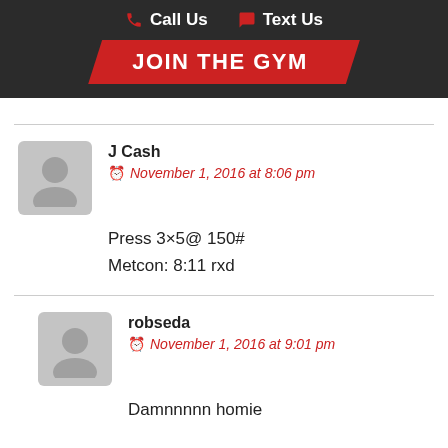Call Us  Text Us
JOIN THE GYM
J Cash
November 1, 2016 at 8:06 pm
Press 3×5@ 150#
Metcon: 8:11 rxd
robseda
November 1, 2016 at 9:01 pm
Damnnnnn homie